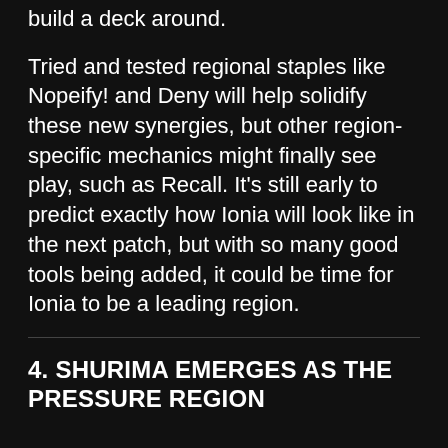build a deck around.
Tried and tested regional staples like Nopeify! and Deny will help solidify these new synergies, but other region-specific mechanics might finally see play, such as Recall. It's still early to predict exactly how Ionia will look like in the next patch, but with so many good tools being added, it could be time for Ionia to be a leading region.
4. SHURIMA EMERGES AS THE PRESSURE REGION
With fewer cards than the other regions, Shurima certainly felt lackluster at times. If it wasn't for Thresh-Nasus, the region wouldn't